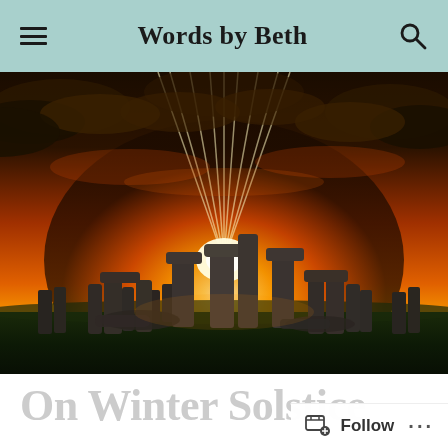Words by Beth
[Figure (photo): Stonehenge silhouetted against a dramatic orange and gold sunset sky with sun rays streaming through the ancient standing stones, green grass in the foreground]
On Winter Solstice
Follow